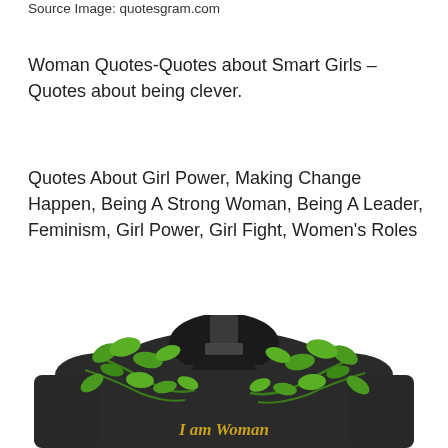Source Image: quotesgram.com
Woman Quotes-Quotes about Smart Girls – Quotes about being clever.
Quotes About Girl Power, Making Change Happen, Being A Strong Woman, Being A Leader, Feminism, Girl Power, Girl Fight, Women's Roles
[Figure (photo): A dark-clothed mannequin or person wearing a black fitted shirt with 'I am Woman' text in gold, decorated with green leaf vines around the torso area, on a white background.]